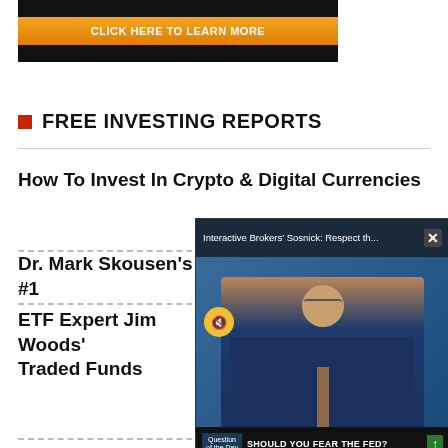[Figure (other): Advertisement banner with orange 'CLICK HERE TO LEARN MORE' button on dark background]
FREE INVESTING REPORTS
How To Invest In Crypto & Digital Currencies
Dr. Mark Skousen's #1
ETF Expert Jim Woods' Traded Funds
[Figure (screenshot): Video popup overlay showing 'Interactive Brokers' Sosnick: Respect th...' with a man in suit, mute button, and lower bar reading 'SHOULD YOU FEAR THE FED?']